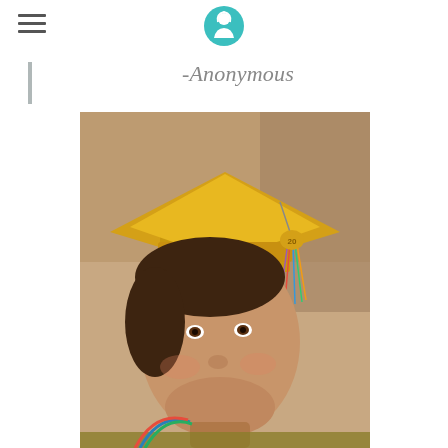[Logo icon — teal person/graduate symbol]
-Anonymous
[Figure (photo): Close-up portrait of a young person wearing a gold graduation cap with a colorful tassel and a '20' charm, smiling, wearing graduation regalia with colorful honor cords]